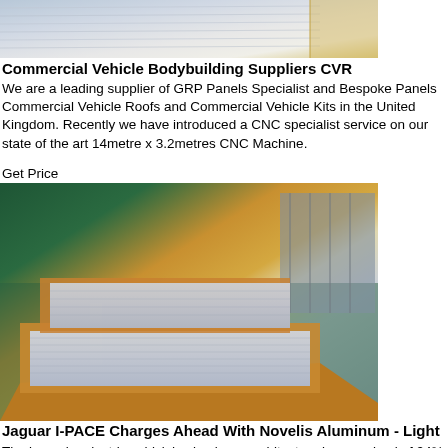[Figure (photo): Close-up of metallic/silver panels or sheets, top portion cropped]
Commercial Vehicle Bodybuilding Suppliers CVR
We are a leading supplier of GRP Panels Specialist and Bespoke Panels Commercial Vehicle Roofs and Commercial Vehicle Kits in the United Kingdom. Recently we have introduced a CNC specialist service on our state of the art 14metre x 3.2metres CNC Machine.
Get Price
[Figure (photo): Industrial warehouse floor with stacks of aluminum sheets in brown packaging, green floor visible in background with shelving units]
Jaguar I-PACE Charges Ahead With Novelis Aluminum - Light ...
The bespoke electric vehicle's aluminum architecture is comprised of 94% aluminum enabling significant weight reduction and meeting all the